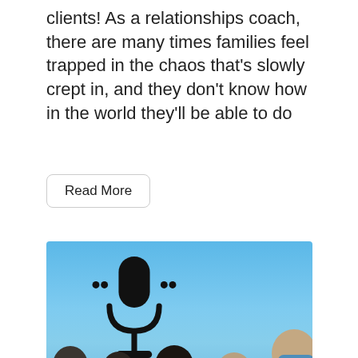clients! As a relationships coach, there are many times families feel trapped in the chaos that’s slowly crept in, and they don’t know how in the world they’ll be able to do
Read More
[Figure (photo): A family selfie photo at the beach with a blue sky background. A microphone icon is overlaid on the left side of the image. The family includes several children and adults, one man wearing blue reflective sunglasses visible on the right edge.]